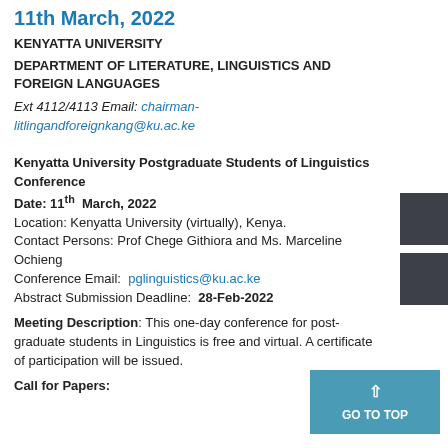11th March, 2022
KENYATTA UNIVERSITY
DEPARTMENT OF LITERATURE, LINGUISTICS AND FOREIGN LANGUAGES
Ext 4112/4113  Email: chairman-litlingandforeignkang@ku.ac.ke
Kenyatta University Postgraduate Students of Linguistics Conference
Date: 11th  March, 2022
Location: Kenyatta University (virtually), Kenya.
Contact Persons: Prof Chege Githiora and Ms. Marceline Ochieng
Conference Email: pglinguistics@ku.ac.ke
Abstract Submission Deadline: 28-Feb-2022
Meeting Description: This one-day conference for post-graduate students in Linguistics is free and virtual. A certificate of participation will be issued.
Call for Papers: